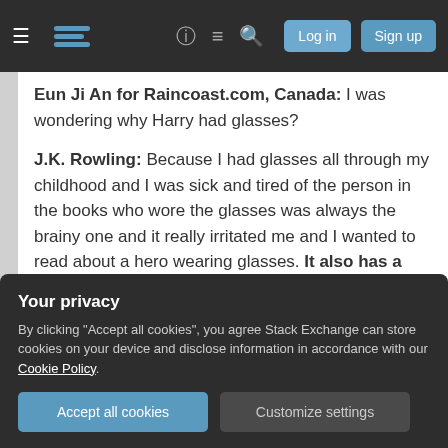[Figure (screenshot): Stack Exchange website navigation bar with hamburger menu, logo, help icon, chat icon, search icon, Log in and Sign up buttons]
Eun Ji An for Raincoast.com, Canada: I was wondering why Harry had glasses?
J.K. Rowling: Because I had glasses all through my childhood and I was sick and tired of the person in the books who wore the glasses was always the brainy one and it really irritated me and I wanted to read about a hero wearing glasses. It also has a symbolic function, Harry is the eyes on to the books in the sense that it is
Your privacy
By clicking "Accept all cookies", you agree Stack Exchange can store cookies on your device and disclose information in accordance with our Cookie Policy.
Accept all cookies
Customize settings